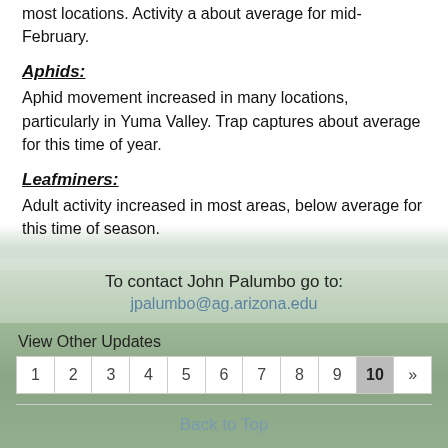most locations. Activity a about average for mid-February.
Aphids:
Aphid movement increased in many locations, particularly in Yuma Valley. Trap captures about average for this time of year.
Leafminers:
Adult activity increased in most areas, below average for this time of season.
To contact John Palumbo go to:
jpalumbo@ag.arizona.edu
View Other Updates
1 2 3 4 5 6 7 8 9 10 »
Back to Top